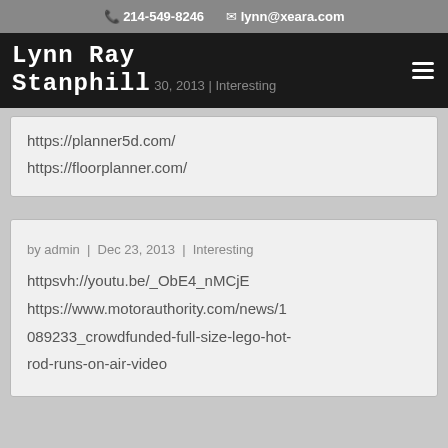📞 214-549-8246  ✉ lynn@xeara.com
Lynn Ray Stanphill
30, 2013 | Interesting
https://planner5d.com/
https://floorplanner.com/
by admin | Dec 23, 2013 | Interesting
httpsvh://youtu.be/_ObE4_nMCjE
https://www.motorauthority.com/news/1089233_crowdfunded-full-size-lego-hot-rod-runs-on-air-video